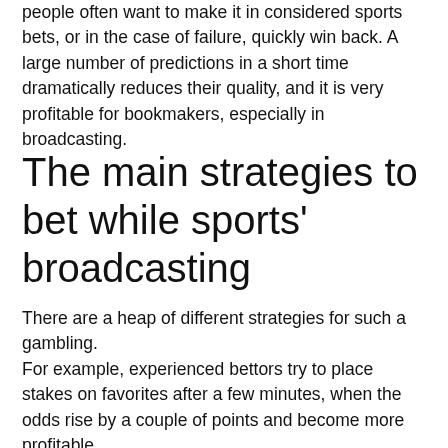people often want to make it in considered sports bets, or in the case of failure, quickly win back. A large number of predictions in a short time dramatically reduces their quality, and it is very profitable for bookmakers, especially in broadcasting.
The main strategies to bet while sports' broadcasting
There are a heap of different strategies for such a gambling.
For example, experienced bettors try to place stakes on favorites after a few minutes, when the odds rise by a couple of points and become more profitable.